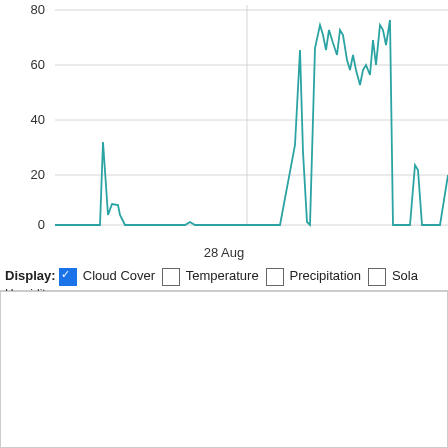[Figure (line-chart): Line chart showing cloud cover over time, with teal line peaking around 30 early, small bump mid-chart, then large peaks 20-90+ later. Y-axis: 0, 20, 40, 60, 80. X-axis label: 28 Aug.]
Display: ✓ Cloud Cover □ Temperature □ Precipitation □ Solar Humidity
Time in GMT, not local. Click-drag to zoom,click-click to reset,shift-
Cantley Precipitation
[Figure (line-chart): Precipitation chart showing y-axis values 0.6, 0.8, 1.0 visible. Chart area mostly empty/flat with grid lines.]